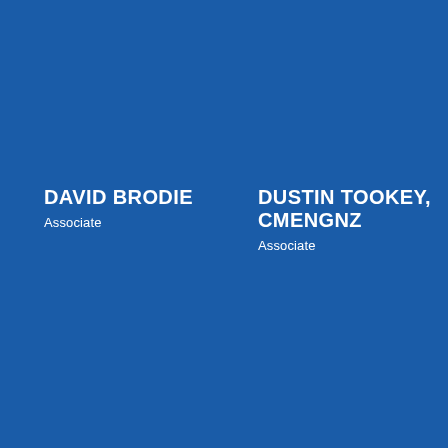DAVID BRODIE
Associate
DUSTIN TOOKEY, CMENGNZ
Associate